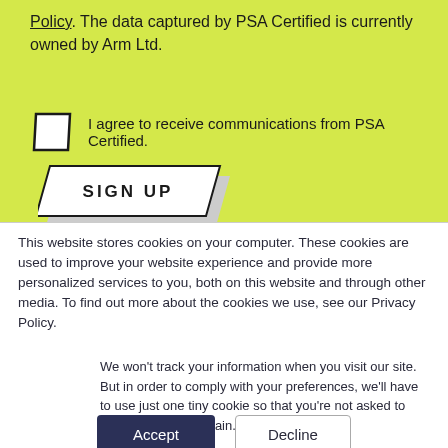Policy. The data captured by PSA Certified is currently owned by Arm Ltd.
I agree to receive communications from PSA Certified.
[Figure (other): SIGN UP button styled with parallelogram/ribbon shape on yellow-green background]
This website stores cookies on your computer. These cookies are used to improve your website experience and provide more personalized services to you, both on this website and through other media. To find out more about the cookies we use, see our Privacy Policy.
We won't track your information when you visit our site. But in order to comply with your preferences, we'll have to use just one tiny cookie so that you're not asked to make this choice again.
Accept
Decline